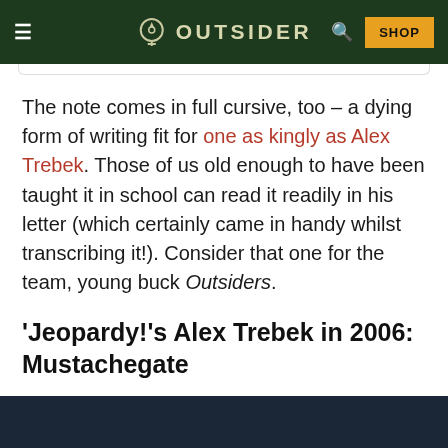OUTSIDER — SHOP
The note comes in full cursive, too – a dying form of writing fit for one as kingly as Alex Trebek. Those of us old enough to have been taught it in school can read it readily in his letter (which certainly came in handy whilst transcribing it!). Consider that one for the team, young buck Outsiders.
'Jeopardy!'s Alex Trebek in 2006: Mustachegate